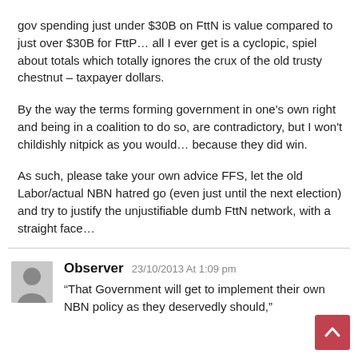gov spending just under $30B on FttN is value compared to just over $30B for FttP… all I ever get is a cyclopic, spiel about totals which totally ignores the crux of the old trusty chestnut – taxpayer dollars.
By the way the terms forming government in one's own right and being in a coalition to do so, are contradictory, but I won't childishly nitpick as you would… because they did win.
As such, please take your own advice FFS, let the old Labor/actual NBN hatred go (even just until the next election) and try to justify the unjustifiable dumb FttN network, with a straight face…
Observer 23/10/2013 At 1:09 pm
“That Government will get to implement their own NBN policy as they deservedly should,”